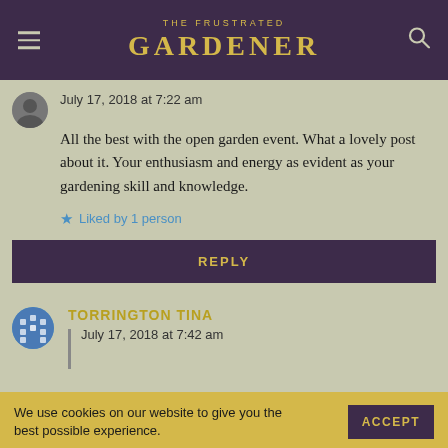THE FRUSTRATED GARDENER
July 17, 2018 at 7:22 am
All the best with the open garden event. What a lovely post about it. Your enthusiasm and energy as evident as your gardening skill and knowledge.
Liked by 1 person
REPLY
TORRINGTON TINA
July 17, 2018 at 7:42 am
We use cookies on our website to give you the best possible experience.
ACCEPT